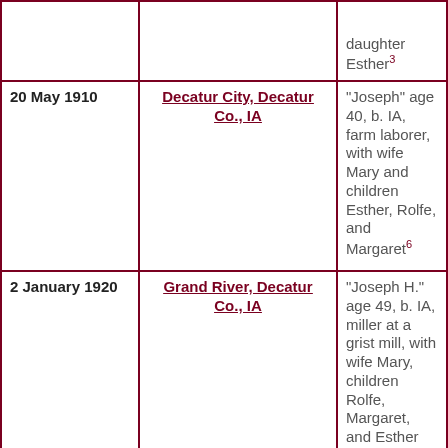| Date | Location | Description |
| --- | --- | --- |
|  |  | daughter Esther³ |
| 20 May 1910 | Decatur City, Decatur Co., IA | "Joseph" age 40, b. IA, farm laborer, with wife Mary and children Esther, Rolfe, and Margaret⁶ |
| 2 January 1920 | Grand River, Decatur Co., IA | "Joseph H." age 49, b. IA, miller at a grist mill, with wife Mary, children Rolfe, Margaret, and Esther with her first... |